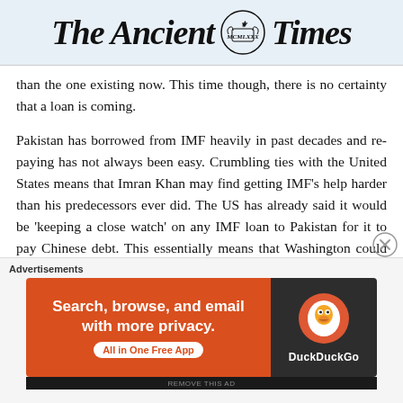The Ancient Times
than the one existing now. This time though, there is no certainty that a loan is coming.
Pakistan has borrowed from IMF heavily in past decades and re-paying has not always been easy. Crumbling ties with the United States means that Imran Khan may find getting IMF's help harder than his predecessors ever did. The US has already said it would be 'keeping a close watch' on any IMF loan to Pakistan for it to pay Chinese debt. This essentially means that Washington could use its clout to obstruct such help.
And help is what Pakistan needs, quite desperately.
[Figure (infographic): DuckDuckGo advertisement banner: Search, browse, and email with more privacy. All in One Free App. DuckDuckGo logo on dark background.]